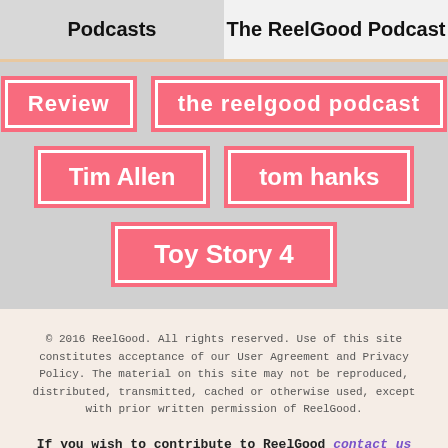Podcasts | The ReelGood Podcast
Review
the reelgood podcast
Tim Allen
tom hanks
Toy Story 4
© 2016 ReelGood. All rights reserved. Use of this site constitutes acceptance of our User Agreement and Privacy Policy. The material on this site may not be reproduced, distributed, transmitted, cached or otherwise used, except with prior written permission of ReelGood.
If you wish to contribute to ReelGood contact us here
© 2016 ReelGood.